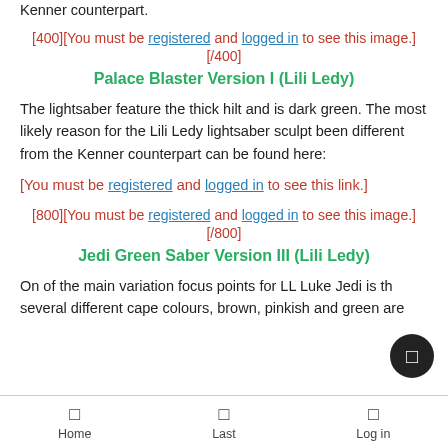Kenner counterpart.
[400][You must be registered and logged in to see this image.][/400]
Palace Blaster Version I (Lili Ledy)
The lightsaber feature the thick hilt and is dark green. The most likely reason for the Lili Ledy lightsaber sculpt been different from the Kenner counterpart can be found here:
[You must be registered and logged in to see this link.]
[800][You must be registered and logged in to see this image.][/800]
Jedi Green Saber Version III (Lili Ledy)
On of the main variation focus points for LL Luke Jedi is the several different cape colours, brown, pinkish and are
Home   Last   Log in